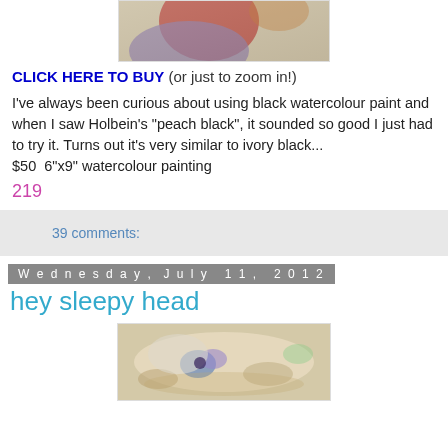[Figure (photo): Partial view of a watercolour painting showing red and purple tones, cropped at top]
CLICK HERE TO BUY (or just to zoom in!)
I've always been curious about using black watercolour paint and when I saw Holbein's "peach black", it sounded so good I just had to try it. Turns out it's very similar to ivory black... $50  6"x9" watercolour painting
219
39 comments:
Wednesday, July 11, 2012
hey sleepy head
[Figure (photo): Watercolour painting of a sleeping figure with muted earth tones, blues and purples]